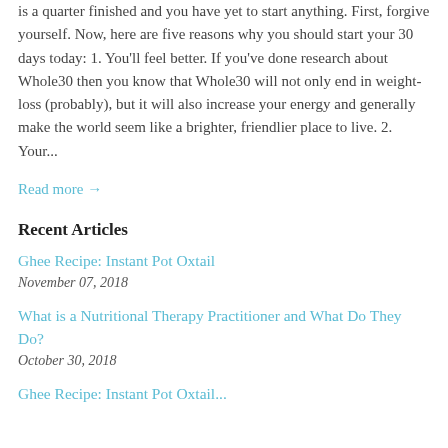is a quarter finished and you have yet to start anything. First, forgive yourself. Now, here are five reasons why you should start your 30 days today: 1. You'll feel better. If you've done research about Whole30 then you know that Whole30 will not only end in weight-loss (probably), but it will also increase your energy and generally make the world seem like a brighter, friendlier place to live. 2. Your...
Read more →
Recent Articles
Ghee Recipe: Instant Pot Oxtail
November 07, 2018
What is a Nutritional Therapy Practitioner and What Do They Do?
October 30, 2018
Ghee Recipe: Instant Pot Oxtail...